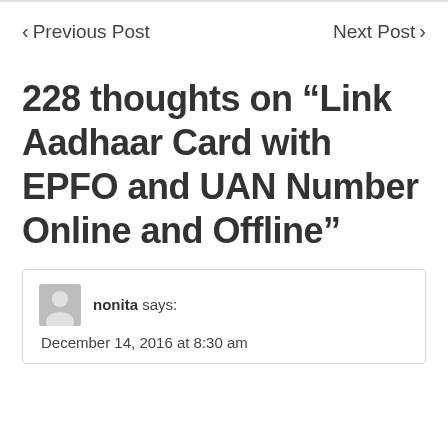< Previous Post   Next Post >
228 thoughts on “Link Aadhaar Card with EPFO and UAN Number Online and Offline”
nonita says: December 14, 2016 at 8:30 am